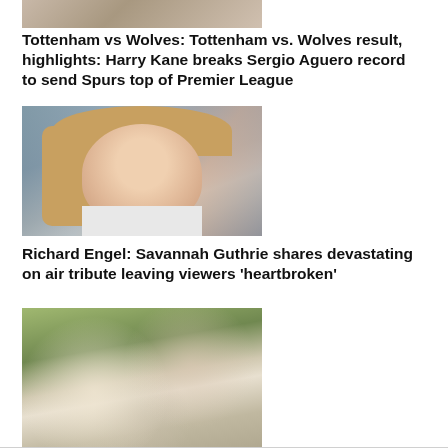[Figure (photo): Partial top image of a sports scene, cropped at top of page]
Tottenham vs Wolves: Tottenham vs. Wolves result, highlights: Harry Kane breaks Sergio Aguero record to send Spurs top of Premier League
[Figure (photo): Portrait photo of a blonde woman (Savannah Guthrie) looking seriously at camera, blurred background]
Richard Engel: Savannah Guthrie shares devastating on air tribute leaving viewers 'heartbroken'
[Figure (photo): Crowd scene at an outdoor sporting event, people gathered on a field or track]